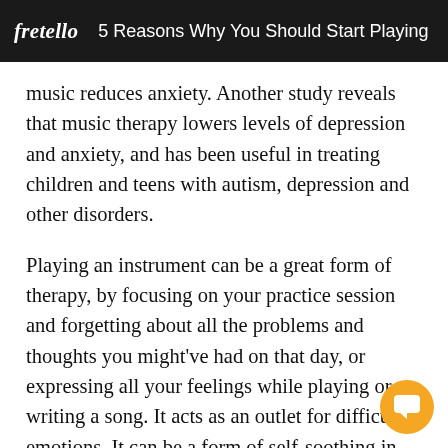fretello  5 Reasons Why You Should Start Playing an
music reduces anxiety. Another study reveals that music therapy lowers levels of depression and anxiety, and has been useful in treating children and teens with autism, depression and other disorders.
Playing an instrument can be a great form of therapy, by focusing on your practice session and forgetting about all the problems and thoughts you might've had on that day, or expressing all your feelings while playing or writing a song. It acts as an outlet for difficult emotions. It can be a form of self-soothing in tough situations, and a healthy distraction from a stressful day.